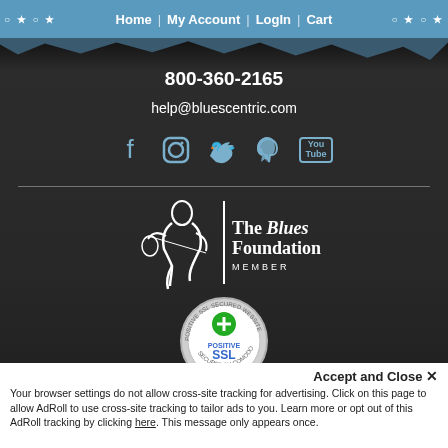○ ★ ○ ★  Home  |  My Account  |  LogIn  |  Cart  ○ ★ ○ ★
800-360-2165
help@bluescentric.com
[Figure (illustration): Social media icons: Facebook, Instagram, Twitter, Pinterest, YouTube]
[Figure (logo): The Blues Foundation MEMBER logo with guitar player silhouette]
[Figure (logo): Positive SSL Secured Website badge - Secured by Comodo]
Accept and Close ✕
Your browser settings do not allow cross-site tracking for advertising. Click on this page to allow AdRoll to use cross-site tracking to tailor ads to you. Learn more or opt out of this AdRoll tracking by clicking here. This message only appears once.